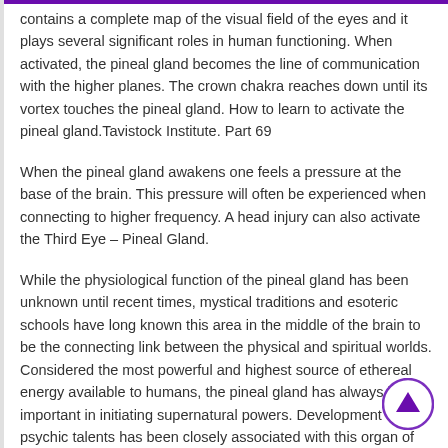contains a complete map of the visual field of the eyes and it plays several significant roles in human functioning. When activated, the pineal gland becomes the line of communication with the higher planes. The crown chakra reaches down until its vortex touches the pineal gland. How to learn to activate the pineal gland.Tavistock Institute. Part 69
When the pineal gland awakens one feels a pressure at the base of the brain. This pressure will often be experienced when connecting to higher frequency. A head injury can also activate the Third Eye – Pineal Gland.
While the physiological function of the pineal gland has been unknown until recent times, mystical traditions and esoteric schools have long known this area in the middle of the brain to be the connecting link between the physical and spiritual worlds. Considered the most powerful and highest source of ethereal energy available to humans, the pineal gland has always been important in initiating supernatural powers. Development of psychic talents has been closely associated with this organ of higher vision.